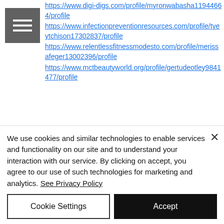[Figure (other): Hamburger menu icon: grey square with three white horizontal lines]
https://www.digi-digs.com/profile/myronwabasha11944664/profile
https://www.infectionpreventionresources.com/profile/tyeytchison17302837/profile
https://www.relentlessfitnessmodesto.com/profile/merissafeger13002396/profile
https://www.mctbeautyworld.org/profile/gertudeotley9841477/profile
Love Candy Floss, Maulden, Bedfordshire, MK45 2FW
We use cookies and similar technologies to enable services and functionality on our site and to understand your interaction with our service. By clicking on accept, you agree to our use of such technologies for marketing and analytics. See Privacy Policy